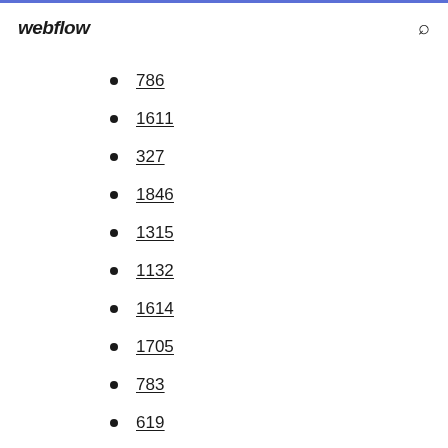webflow
786
1611
327
1846
1315
1132
1614
1705
783
619
974
363